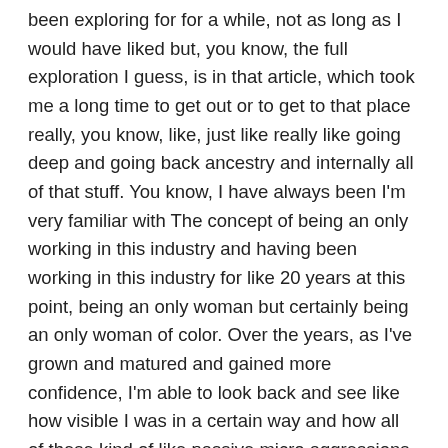been exploring for for a while, not as long as I would have liked but, you know, the full exploration I guess, is in that article, which took me a long time to get out or to get to that place really, you know, like, just like really like going deep and going back ancestry and internally all of that stuff. You know, I have always been I'm very familiar with The concept of being an only working in this industry and having been working in this industry for like 20 years at this point, being an only woman but certainly being an only woman of color. Over the years, as I've grown and matured and gained more confidence, I'm able to look back and see like how visible I was in a certain way and how all of these kind of like passive micro aggressions were in my daily experience.